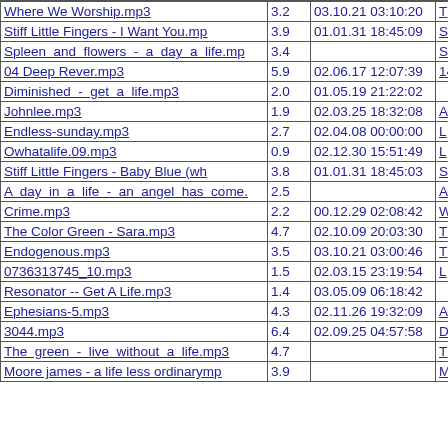| Filename | Size | Date/Time | Link |
| --- | --- | --- | --- |
| Where We Worship.mp3 | 3.2 | 03.10.21 03:10:20 | T |
| Stiff Little Fingers - I Want You.mp | 3.9 | 01.01.31 18:45:09 | S |
| Spleen  and  flowers  -  a  day  a  life.mp | 3.4 |  | S |
| 04 Deep Rever.mp3 | 5.9 | 02.06.17 12:07:39 | 14 |
| Diminished  -  get  a  life.mp3 | 2.0 | 01.05.19 21:22:02 |  |
| Johnlee.mp3 | 1.9 | 02.03.25 18:32:08 | A |
| Endless-sunday.mp3 | 2.7 | 02.04.08 00:00:00 | L |
| Owhatalife.09.mp3 | 0.9 | 02.12.30 15:51:49 | L |
| Stiff Little Fingers - Baby Blue (wh | 3.8 | 01.01.31 18:45:03 | S |
| A  day  in  a  life  -  an  angel  has  come. | 2.5 |  | A |
| Crime.mp3 | 2.2 | 00.12.29 02:08:42 | W |
| The Color Green - Sara.mp3 | 4.7 | 02.10.09 20:03:30 | T |
| Endogenous.mp3 | 3.5 | 03.10.21 03:00:46 | T |
| 0736313745_10.mp3 | 1.5 | 02.03.15 23:19:54 | L |
| Resonator -- Get A Life.mp3 | 1.4 | 03.05.09 06:18:42 |  |
| Ephesians-5.mp3 | 4.3 | 02.11.26 19:32:09 | A |
| 3044.mp3 | 6.4 | 02.09.25 04:57:58 | D |
| The  green  -  live  without  a  life.mp3 | 4.7 |  | T |
| Moore james - a life less ordinarymp | 3.9 |  | M |